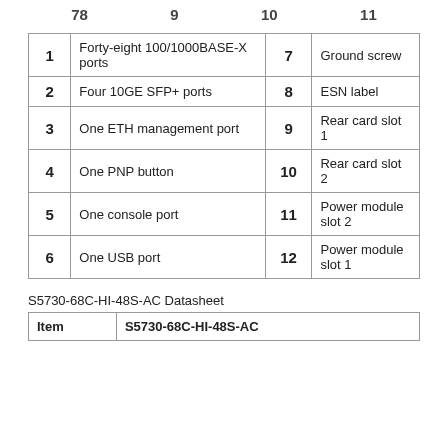78   9   10   11
| 1 | Forty-eight 100/1000BASE-X ports | 7 | Ground screw |
| 2 | Four 10GE SFP+ ports | 8 | ESN label |
| 3 | One ETH management port | 9 | Rear card slot 1 |
| 4 | One PNP button | 10 | Rear card slot 2 |
| 5 | One console port | 11 | Power module slot 2 |
| 6 | One USB port | 12 | Power module slot 1 |
S5730-68C-HI-48S-AC Datasheet
| Item | S5730-68C-HI-48S-AC |
| --- | --- |